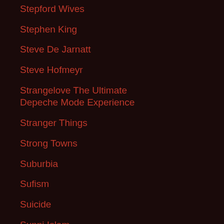Stepford Wives
Stephen King
Steve De Jarnatt
Steve Hofmeyr
Strangelove The Ultimate Depeche Mode Experience
Stranger Things
Strong Towns
Suburbia
Sufism
Suicide
Sunni Islam
Surrealism
Susan Block
Sven Kirsten